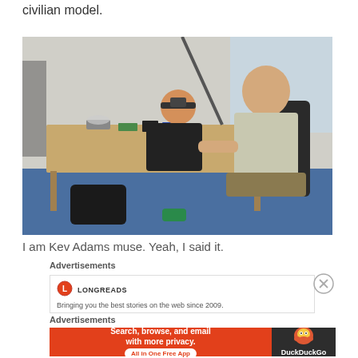civilian model.
[Figure (photo): Two men at a desk in what appears to be an indoor event space. One man is leaning over the desk looking closely at objects, wearing a headband/loupe. The other man is seated watching. Blue carpet on floor, wooden desk with various items.]
I am Kev Adams muse. Yeah, I said it.
Advertisements
[Figure (screenshot): Longreads advertisement: logo and text 'Bringing you the best stories on the web since 2009.']
Advertisements
[Figure (screenshot): DuckDuckGo advertisement: 'Search, browse, and email with more privacy. All in One Free App' on orange background with DuckDuckGo duck logo on dark right panel.]